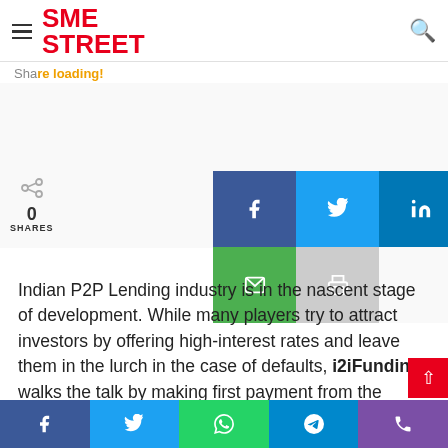SME STREET
Share loading!
[Figure (infographic): Social sharing buttons: Facebook, Twitter, LinkedIn, Email, Print. Share count: 0 SHARES.]
Indian P2P Lending industry is in the nascent stage of development. While many players try to attract investors by offering high-interest rates and leave them in the lurch in the case of defaults, i2iFunding walks the talk by making first payment from the Principal Protection Fund and reiterates its commitment to shore up investors' confidence.
Social share bottom bar: Facebook, Twitter, WhatsApp, Telegram, Phone